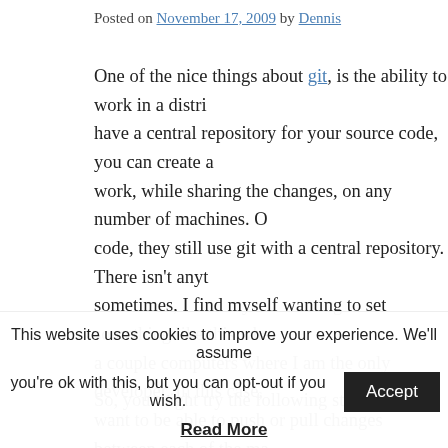Posted on November 17, 2009 by Dennis
One of the nice things about git, is the ability to work in a distributed fashion. Rather than just have a central repository for your source code, you can create a local repository on each machine you work, while sharing the changes, on any number of machines. Of course, many teams that use git for their code, they still use git with a central repository. There isn't anything wrong with this and sometimes, I find myself wanting to set something like this when I am working on a project on a couple computers where I am the only developer. In this case, I don't need 2 machines, but I want to be able to push or pull changes between each of the machines without needing to setup a 3rd repository.
So, you might try the following steps:
# on the 1st machine
This website uses cookies to improve your experience. We'll assume you're ok with this, but you can opt-out if you wish. Accept
Read More